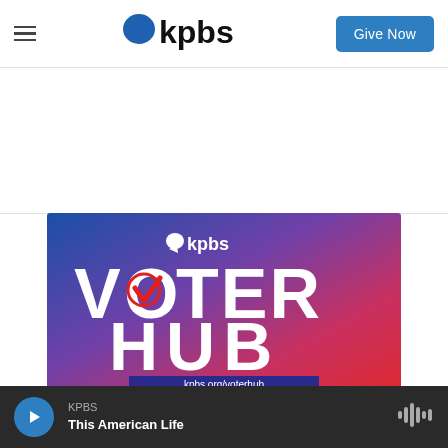KPBS - Give Now
[Figure (logo): KPBS logo with blue speech bubble icon and bold kpbs text]
[Figure (infographic): KPBS Voter Hub promotional banner with blue-to-red gradient background, KPBS logo, VOTER HUB text in large white bold letters with a red checkmark in the letter O of VOTER, and URLs kpbs.org/voterhub and kpbs.org/guiaelectoral in blue boxes]
KPBS  This American Life